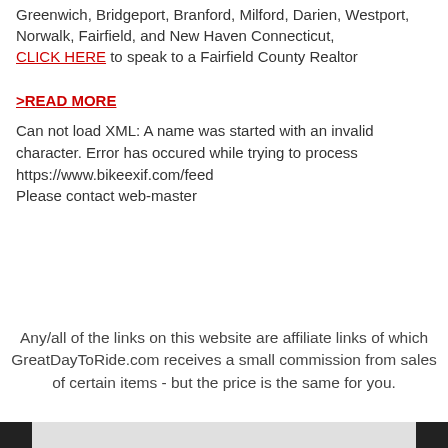Greenwich, Bridgeport, Branford, Milford, Darien, Westport, Norwalk, Fairfield, and New Haven Connecticut, CLICK HERE to speak to a Fairfield County Realtor
>READ MORE
Can not load XML: A name was started with an invalid character. Error has occured while trying to process https://www.bikeexif.com/feed
Please contact web-master
Any/all of the links on this website are affiliate links of which GreatDayToRide.com receives a small commission from sales of certain items - but the price is the same for you.